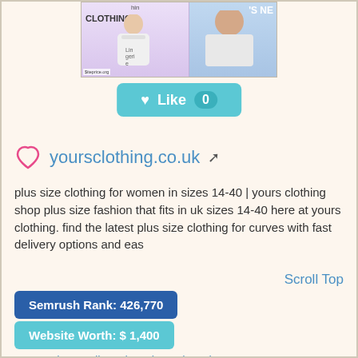[Figure (screenshot): Website screenshot thumbnail showing clothing/lingerie product images with watermark siteprice.org]
[Figure (other): Teal Like button with heart icon showing count of 0]
yoursclothing.co.uk [external link icon]
plus size clothing for women in sizes 14-40 | yours clothing
shop plus size fashion that fits in uk sizes 14-40 here at yours clothing. find the latest plus size clothing for curves with fast delivery options and eas
Scroll Top
Semrush Rank: 426,770
Website Worth: $ 1,400
Categories: Online Shopping, Shopping
Is it similar?